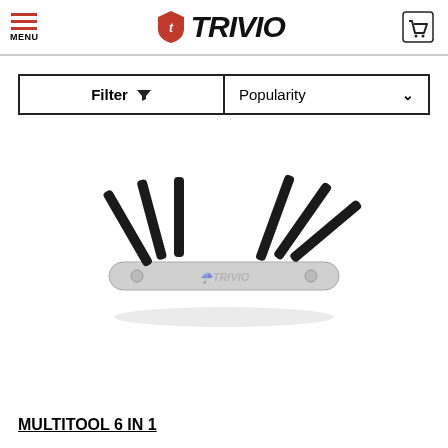TRIVIO - Menu, Logo, Cart
Filter | Popularity
[Figure (photo): A Trivio multitool 6-in-1 bicycle tool with silver aluminum body and black folding hex/torx bits fanned out on both ends.]
MULTITOOL 6 IN 1